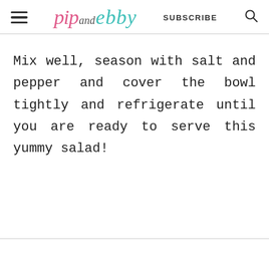pip and ebby — SUBSCRIBE
Mix well, season with salt and pepper and cover the bowl tightly and refrigerate until you are ready to serve this yummy salad!